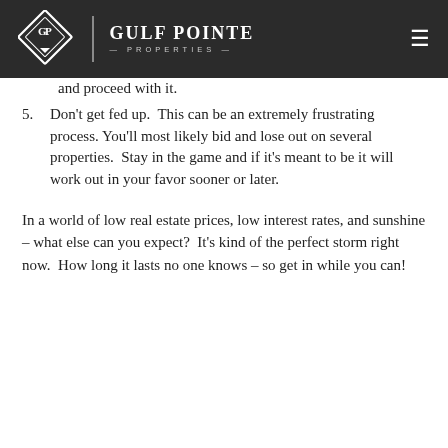[Figure (logo): Gulf Pointe Properties logo on dark header bar with navigation hamburger menu]
and proceed with it.
5. Don't get fed up.  This can be an extremely frustrating process. You'll most likely bid and lose out on several properties.  Stay in the game and if it's meant to be it will work out in your favor sooner or later.
In a world of low real estate prices, low interest rates, and sunshine – what else can you expect?  It's kind of the perfect storm right now.  How long it lasts no one knows – so get in while you can!